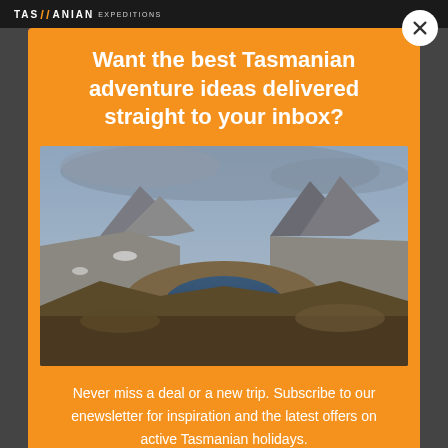[Figure (logo): Tasmanian Expeditions logo with orange double-slash mark and white text on dark background]
Want the best Tasmanian adventure ideas delivered straight to your inbox?
[Figure (photo): Aerial landscape photo of Cradle Mountain and a lake surrounded by rocky terrain in Tasmania, with dramatic cloudy sky]
Never miss a deal or a new trip. Subscribe to our enewsletter for inspiration and the latest offers on active Tasmanian holidays.